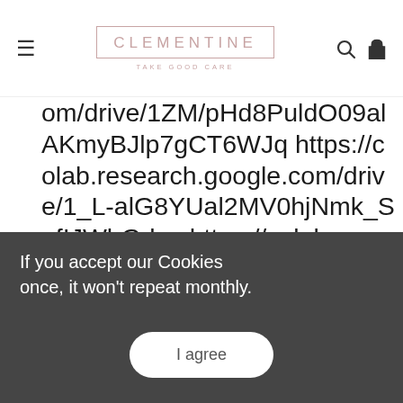CLEMENTINE — TAKE GOOD CARE
om/drive/1ZM/pHd8PuldO09alAKmyBJlp7gCT6WJq https://colab.research.google.com/drive/1_L-alG8YUal2MV0hjNmk_SefIJWbGdce https://colab.research.google.com/drive/1VEBi8fcXrE3VBKlOC1eBwX1sVxYPWAZE https://colab.research.google.com/drive/1SnwjjbjCmqVn7wLIBrZhIKCukORhIKNl0 https://colab.research.google.com/drive/1lWYrFsqD2s28RbJ3IR6pl...b3 https://colab.research.google.c
If you accept our Cookies once, it won't repeat monthly.
I agree